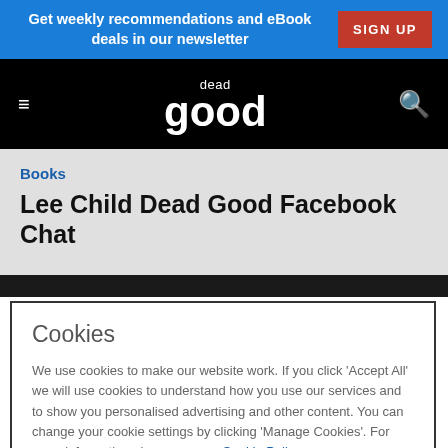Get weekly recommendations and eBook deals in our newsletter  SIGN UP
[Figure (logo): Dead Good logo with hamburger menu and search icon on black navigation bar]
Books
Lee Child Dead Good Facebook Chat
Cookies
We use cookies to make our website work. If you click 'Accept All' we will use cookies to understand how you use our services and to show you personalised advertising and other content. You can change your cookie settings by clicking 'Manage Cookies'. For more information please see our Cookie Policy